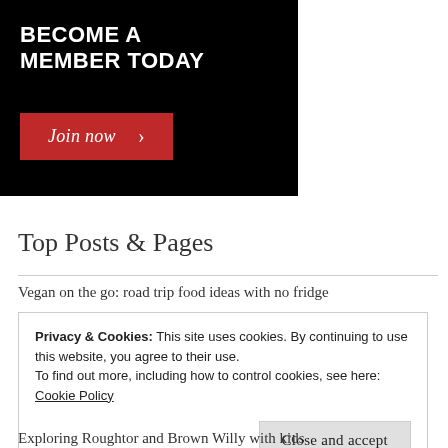[Figure (other): Black banner with white bold text 'BECOME A MEMBER TODAY' and a red 'Join now >' button]
Top Posts & Pages
Vegan on the go: road trip food ideas with no fridge
Privacy & Cookies: This site uses cookies. By continuing to use this website, you agree to their use.
To find out more, including how to control cookies, see here:
Cookie Policy
[Close and accept]
Exploring Roughtor and Brown Willy with kids